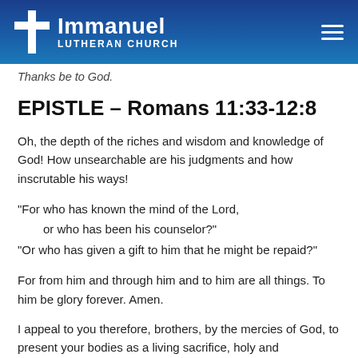Immanuel Lutheran Church
Thanks be to God.
EPISTLE – Romans 11:33-12:8
Oh, the depth of the riches and wisdom and knowledge of God! How unsearchable are his judgments and how inscrutable his ways!
“For who has known the mind of the Lord,
    or who has been his counselor?"
“Or who has given a gift to him that he might be repaid?”
For from him and through him and to him are all things. To him be glory forever. Amen.
I appeal to you therefore, brothers, by the mercies of God, to present your bodies as a living sacrifice, holy and